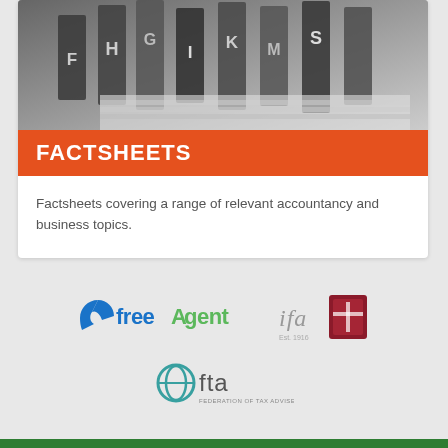[Figure (photo): Black and white photo of filing cabinet dividers/tabs with letters visible]
FACTSHEETS
Factsheets covering a range of relevant accountancy and business topics.
[Figure (logo): FreeAgent logo in blue and green]
[Figure (logo): IFA (Institute of Financial Accountants) logo with crest, Est. 1916]
[Figure (logo): FTA - Federation of Tax Advisers logo with teal circular icon]